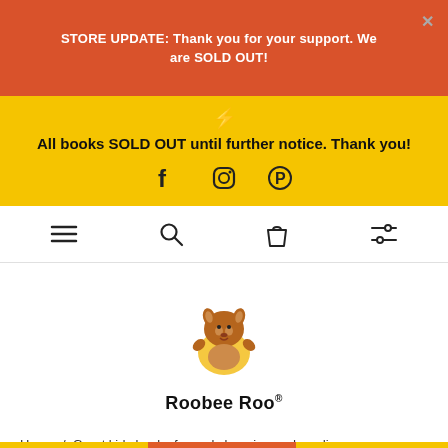STORE UPDATE: Thank you for your support. We are SOLD OUT!
All books SOLD OUT until further notice. Thank you!
[Figure (illustration): Social media icons: Facebook, Instagram, Pinterest]
[Figure (illustration): Navigation bar with hamburger menu, search, shopping bag, and filter icons]
[Figure (logo): Roobee Roo kangaroo mascot logo with text Roobee Roo]
Home / Great kids books for early learning and reading / Outdoor Pouch | 3 Books | Gives 3 Meals